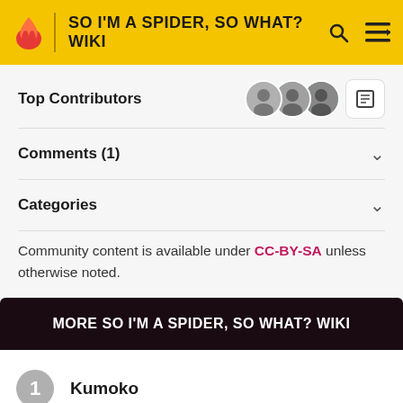SO I'M A SPIDER, SO WHAT? WIKI
Top Contributors
Comments (1)
Categories
Community content is available under CC-BY-SA unless otherwise noted.
MORE SO I'M A SPIDER, SO WHAT? WIKI
1 Kumoko